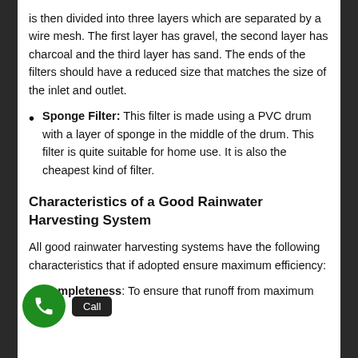is then divided into three layers which are separated by a wire mesh. The first layer has gravel, the second layer has charcoal and the third layer has sand. The ends of the filters should have a reduced size that matches the size of the inlet and outlet.
Sponge Filter: This filter is made using a PVC drum with a layer of sponge in the middle of the drum. This filter is quite suitable for home use. It is also the cheapest kind of filter.
Characteristics of a Good Rainwater Harvesting System
All good rainwater harvesting systems have the following characteristics that if adopted ensure maximum efficiency:
Completeness: To ensure that runoff from maximum